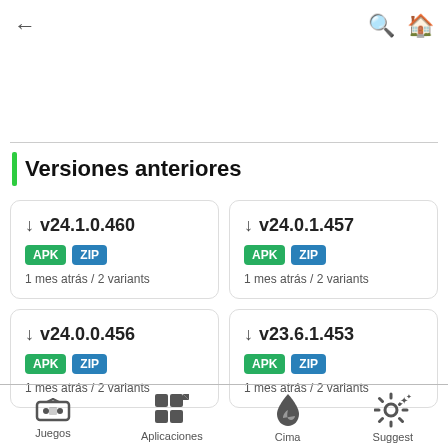← (back) | 🔍 🏠
Versiones anteriores
↓ v24.1.0.460 | APK ZIP | 1 mes atrás / 2 variants
↓ v24.0.1.457 | APK ZIP | 1 mes atrás / 2 variants
↓ v24.0.0.456 | APK ZIP | 1 mes atrás / 2 variants
↓ v23.6.1.453 | APK ZIP | 1 mes atrás / 2 variants
Juegos | Aplicaciones | Cima | Suggest